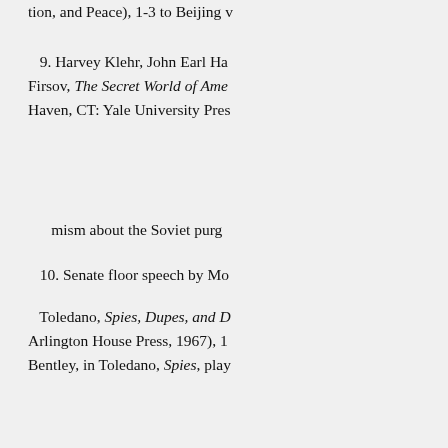tion, and Peace), 1-3 to Beijing v
9. Harvey Klehr, John Earl Ha... Firsov, The Secret World of Ame... Haven, CT: Yale University Pres
mism about the Soviet purg
10. Senate floor speech by Mc
Toledano, Spies, Dupes, and D... Arlington House Press, 1967), 1... Bentley, in Toledano, Spies, play
12. See Adler's photo in Chen'
Shanghai Culture and History... ziliao xuanji]43 (April 1983), Sh
13. For more details on this, se
Intelligence: OSS in China. wi
14. Many top leaders of the Ch
Browder and Eugene Dennis